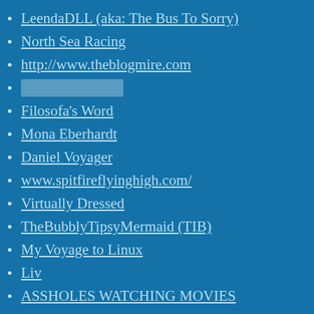LeendaDLL (aka: The Bus To Sorry)
North Sea Racing
http://www.theblogmire.com
[redacted text]
Filosofa's Word
Mona Eberhardt
Daniel Voyager
www.spitfireflyinghigh.com/
Virtually Dressed
TheBubblyTipsyMermaid (TIB)
My Voyage to Linux
Liv
ASSHOLES WATCHING MOVIES
Movies, Movies, Movies
Mesh The Movie Freak
Arsenic In Shell
Willow Croft